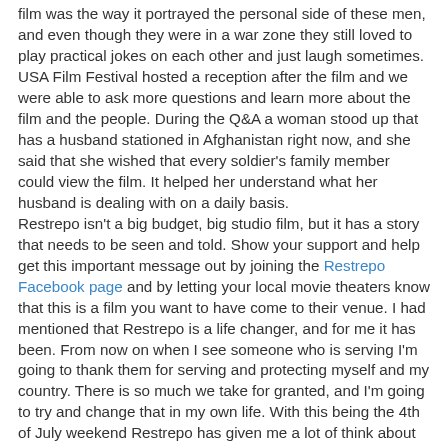film was the way it portrayed the personal side of these men, and even though they were in a war zone they still loved to play practical jokes on each other and just laugh sometimes. USA Film Festival hosted a reception after the film and we were able to ask more questions and learn more about the film and the people. During the Q&A a woman stood up that has a husband stationed in Afghanistan right now, and she said that she wished that every soldier's family member could view the film. It helped her understand what her husband is dealing with on a daily basis.
Restrepo isn't a big budget, big studio film, but it has a story that needs to be seen and told. Show your support and help get this important message out by joining the Restrepo Facebook page and by letting your local movie theaters know that this is a film you want to have come to their venue. I had mentioned that Restrepo is a life changer, and for me it has been. From now on when I see someone who is serving I'm going to thank them for serving and protecting myself and my country. There is so much we take for granted, and I'm going to try and change that in my own life. With this being the 4th of July weekend Restrepo has given me a lot of think about and be thankful for.